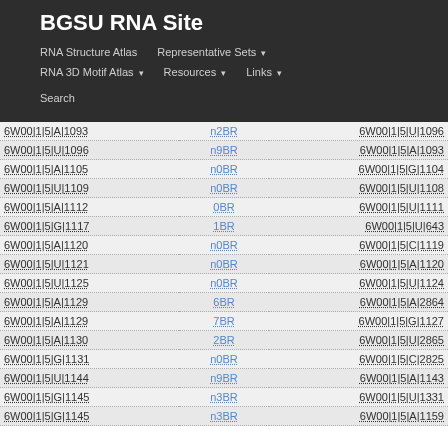BGSU RNA Site
RNA Structure Atlas | Representative Sets ▾ | RNA 3D Motif Atlas ▾ | Resources ▾ | Links ▾ | Search
|  |  |  |
| --- | --- | --- |
| 6W00|1|5|A|1093 | n2BR | 6W00|1|5|U|1096 |
| 6W00|1|5|U|1096 | n9BR | 6W00|1|5|A|1093 |
| 6W00|1|5|A|1105 | n0BR | 6W00|1|5|G|1104 |
| 6W00|1|5|U|1109 | n0BR | 6W00|1|5|U|1108 |
| 6W00|1|5|A|1112 | 0BR | 6W00|1|5|U|1111 |
| 6W00|1|5|G|1117 | 1BR | 6W00|1|5|U|643 |
| 6W00|1|5|A|1120 | n0BR | 6W00|1|5|C|1119 |
| 6W00|1|5|U|1121 | n0BR | 6W00|1|5|A|1120 |
| 6W00|1|5|U|1125 | n0BR | 6W00|1|5|U|1124 |
| 6W00|1|5|A|1129 | 6BR | 6W00|1|5|A|2864 |
| 6W00|1|5|A|1129 | 7BR | 6W00|1|5|G|1127 |
| 6W00|1|5|A|1130 | 2BR | 6W00|1|5|U|2865 |
| 6W00|1|5|G|1131 | n0BR | 6W00|1|5|C|2825 |
| 6W00|1|5|U|1144 | n9BR | 6W00|1|5|A|1143 |
| 6W00|1|5|G|1145 | n3BR | 6W00|1|5|U|1331 |
| 6W00|1|5|G|1145 | n3BR | 6W00|1|5|A|1159 |